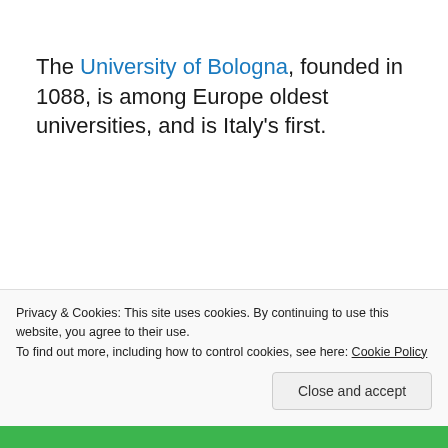The University of Bologna, founded in 1088, is among Europe oldest universities, and is Italy's first.
[Figure (photo): A horizontal photo strip showing the interior of what appears to be an old university or library building, with warm brown and golden tones.]
Privacy & Cookies: This site uses cookies. By continuing to use this website, you agree to their use.
To find out more, including how to control cookies, see here: Cookie Policy
Close and accept